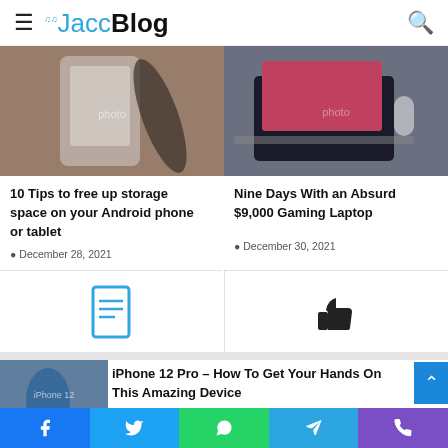JaccBlog
[Figure (photo): Hand holding a smartphone with a stylus writing on screen]
10 Tips to free up storage space on your Android phone or tablet
December 28, 2021
[Figure (photo): Laptop on a desk with a colorful screen]
Nine Days With an Absurd $9,000 Gaming Laptop
December 30, 2021
[Figure (other): Document icon]
[Figure (other): Thumbs up icon]
[Figure (photo): Hand holding iPhone 12 Pro outdoors]
iPhone 12 Pro – How To Get Your Hands On This Amazing Device
2 days ago
Facebook Twitter WhatsApp Telegram Phone